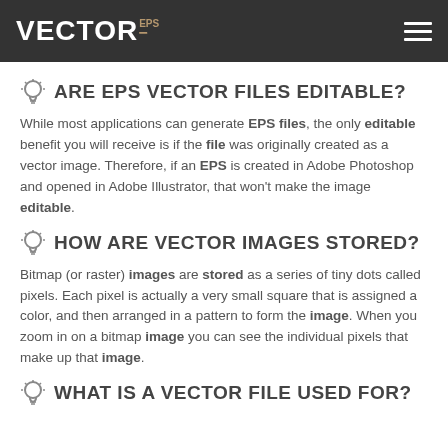VECTOR EPS
ARE EPS VECTOR FILES EDITABLE?
While most applications can generate EPS files, the only editable benefit you will receive is if the file was originally created as a vector image. Therefore, if an EPS is created in Adobe Photoshop and opened in Adobe Illustrator, that won't make the image editable.
HOW ARE VECTOR IMAGES STORED?
Bitmap (or raster) images are stored as a series of tiny dots called pixels. Each pixel is actually a very small square that is assigned a color, and then arranged in a pattern to form the image. When you zoom in on a bitmap image you can see the individual pixels that make up that image.
WHAT IS A VECTOR FILE USED FOR?